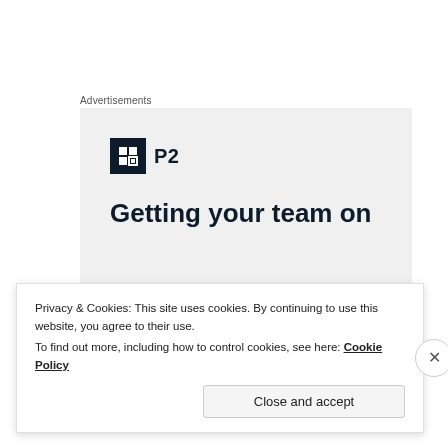Advertisements
[Figure (screenshot): Advertisement box with P2 logo (dark square icon with grid symbol and text 'P2') and headline text 'Getting your team on' on a light grey background]
[Figure (photo): Sky photo showing blue sky with wispy clouds]
Privacy & Cookies: This site uses cookies. By continuing to use this website, you agree to their use.
To find out more, including how to control cookies, see here: Cookie Policy
Close and accept